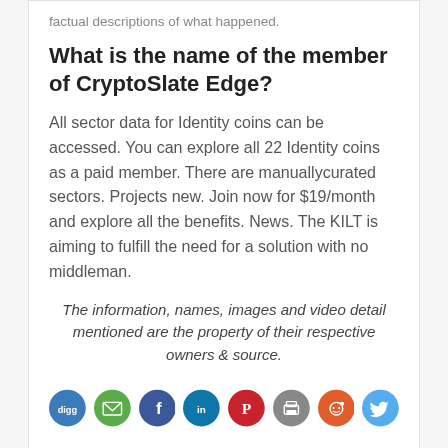factual descriptions of what happened.
What is the name of the member of CryptoSlate Edge?
All sector data for Identity coins can be accessed. You can explore all 22 Identity coins as a paid member. There are manuallycurated sectors. Projects new. Join now for $19/month and explore all the benefits. News. The KILT is aiming to fulfill the need for a solution with no middleman.
The information, names, images and video detail mentioned are the property of their respective owners & source.
[Figure (infographic): Row of 8 social media sharing icons: Digg (blue), Email (green), Facebook (dark blue), LinkedIn (teal/blue), Pinterest (red), Print (gray), Reddit (orange-red), Twitter (light blue)]
Popular Categories